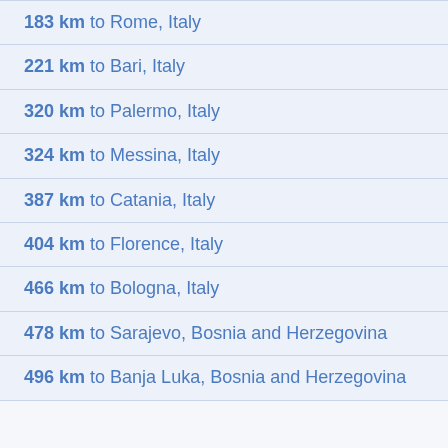183 km to Rome, Italy
221 km to Bari, Italy
320 km to Palermo, Italy
324 km to Messina, Italy
387 km to Catania, Italy
404 km to Florence, Italy
466 km to Bologna, Italy
478 km to Sarajevo, Bosnia and Herzegovina
496 km to Banja Luka, Bosnia and Herzegovina